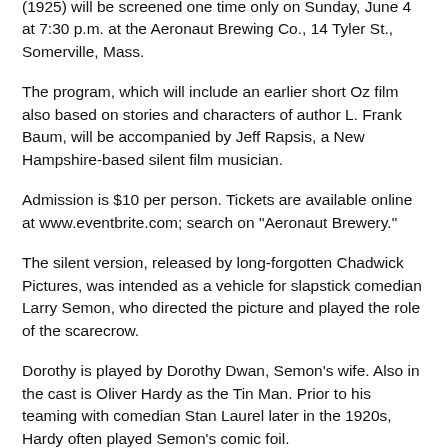(1925) will be screened one time only on Sunday, June 4 at 7:30 p.m. at the Aeronaut Brewing Co., 14 Tyler St., Somerville, Mass.
The program, which will include an earlier short Oz film also based on stories and characters of author L. Frank Baum, will be accompanied by Jeff Rapsis, a New Hampshire-based silent film musician.
Admission is $10 per person. Tickets are available online at www.eventbrite.com; search on "Aeronaut Brewery."
The silent version, released by long-forgotten Chadwick Pictures, was intended as a vehicle for slapstick comedian Larry Semon, who directed the picture and played the role of the scarecrow.
Dorothy is played by Dorothy Dwan, Semon's wife. Also in the cast is Oliver Hardy as the Tin Man. Prior to his teaming with comedian Stan Laurel later in the 1920s, Hardy often played Semon's comic foil.